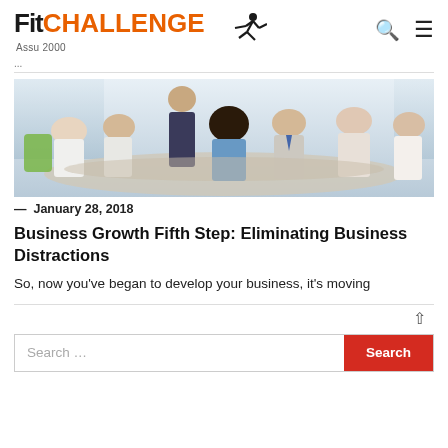Fit CHALLENGE Assu 2000
[Figure (photo): Office meeting photo showing several people sitting around a table in a bright meeting room, one person standing]
— January 28, 2018
Business Growth Fifth Step: Eliminating Business Distractions
So, now you've began to develop your business, it's moving